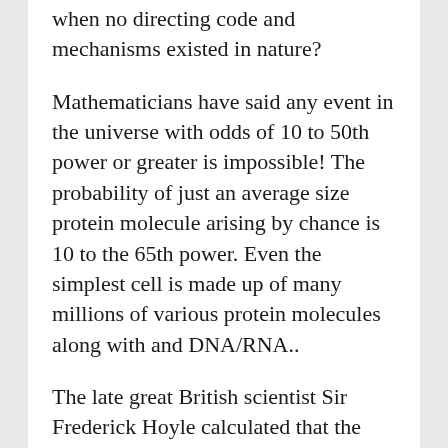when no directing code and mechanisms existed in nature?
Mathematicians have said any event in the universe with odds of 10 to 50th power or greater is impossible! The probability of just an average size protein molecule arising by chance is 10 to the 65th power. Even the simplest cell is made up of many millions of various protein molecules along with and DNA/RNA..
The late great British scientist Sir Frederick Hoyle calculated that the odds of even the simplest cell coming into existence by chance is 10 to the 40,000th power! How large is this? Consider that